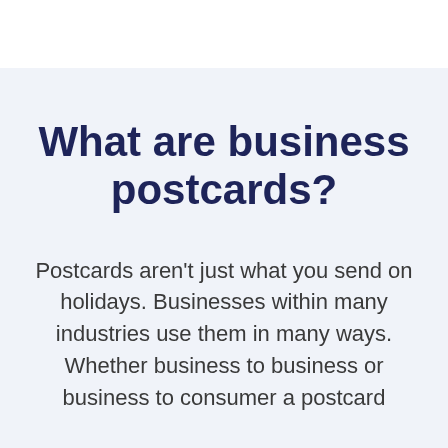What are business postcards?
Postcards aren't just what you send on holidays. Businesses within many industries use them in many ways. Whether business to business or business to consumer a postcard